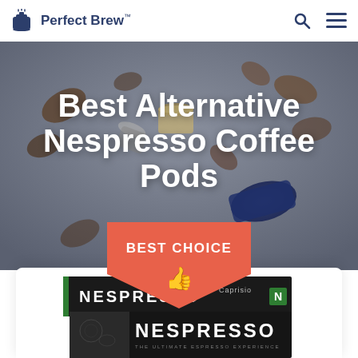Perfect Brew™
[Figure (photo): Hero background photo showing scattered Nespresso coffee pods and coffee beans on a gray surface]
Best Alternative Nespresso Coffee Pods
[Figure (infographic): Best Choice badge in salmon/coral color with thumbs up icon]
[Figure (photo): Nespresso coffee pod boxes — Caprisio and original Nespresso product packaging in black and green]